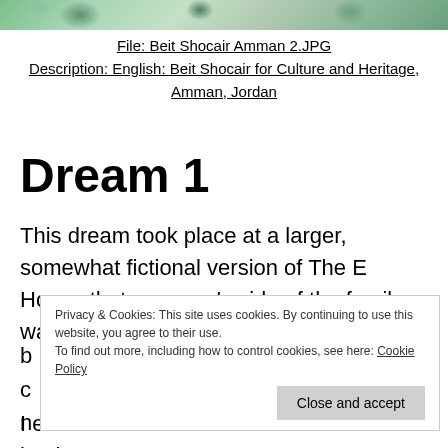[Figure (photo): Top portion of a photo showing green leafy foliage/plants with decorative patterns, partially cropped at the top of the page.]
File: Beit Shocair Amman 2.JPG
Description: English: Beit Shocair for Culture and Heritage, Amman, Jordan
Dream 1
This dream took place at a larger, somewhat fictional version of The E House that my mom's side of the family was renting out, and it had b... o... m...
Privacy & Cookies: This site uses cookies. By continuing to use this website, you agree to their use.
To find out more, including how to control cookies, see here: Cookie Policy
I even had false memories of this and having